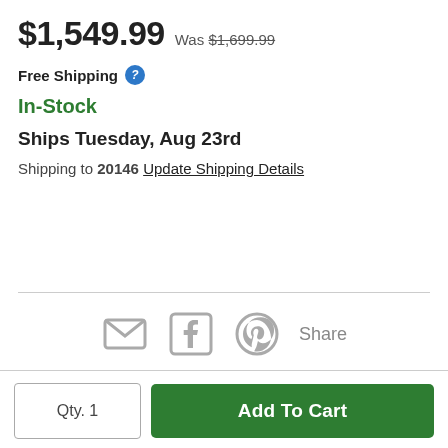$1,549.99 Was $1,699.99
Free Shipping
In-Stock
Ships Tuesday, Aug 23rd
Shipping to 20146 Update Shipping Details
[Figure (infographic): Share icons: email envelope, Facebook logo, Pinterest logo, and Share text label]
Qty. 1
Add To Cart